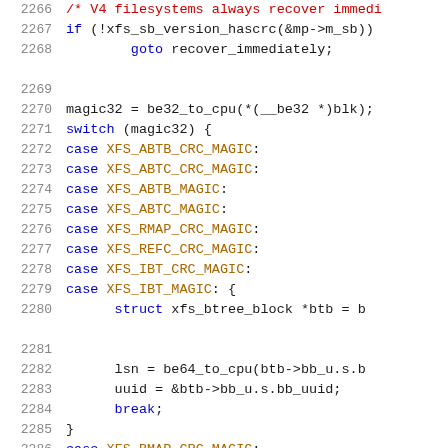[Figure (screenshot): Source code listing showing C code for XFS filesystem recovery logic, lines 2266-2287, with syntax highlighting: line numbers in gray, keywords in blue, constants in orange/brown, comments in red.]